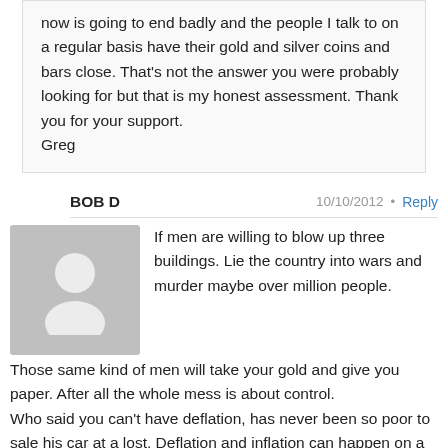now is going to end badly and the people I talk to on a regular basis have their gold and silver coins and bars close. That's not the answer you were probably looking for but that is my honest assessment. Thank you for your support. Greg
BOB D  10/10/2012 • Reply
If men are willing to blow up three buildings. Lie the country into wars and murder maybe over million people. Those same kind of men will take your gold and give you paper. After all the whole mess is about control. Who said you can't have deflation, has never been so poor to sale his car at a lost. Deflation and inflation can happen on a gold stander. At one time bankers complained to many silver dollars were being coined. It's all about power, the power to tell what the gold is worth and how much the slaves can have at any give moment. The power